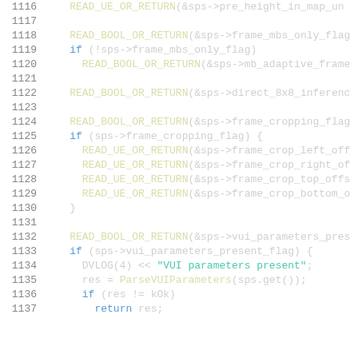1116  READ_UE_OR_RETURN(&sps->pre_height_in_map_un
1117
1118      READ_BOOL_OR_RETURN(&sps->frame_mbs_only_flag
1119      if (!sps->frame_mbs_only_flag)
1120        READ_BOOL_OR_RETURN(&sps->mb_adaptive_frame
1121
1122      READ_BOOL_OR_RETURN(&sps->direct_8x8_inferenc
1123
1124      READ_BOOL_OR_RETURN(&sps->frame_cropping_flag
1125      if (sps->frame_cropping_flag) {
1126        READ_UE_OR_RETURN(&sps->frame_crop_left_off
1127        READ_UE_OR_RETURN(&sps->frame_crop_right_of
1128        READ_UE_OR_RETURN(&sps->frame_crop_top_offs
1129        READ_UE_OR_RETURN(&sps->frame_crop_bottom_o
1130      }
1131
1132      READ_BOOL_OR_RETURN(&sps->vui_parameters_pres
1133      if (sps->vui_parameters_present_flag) {
1134        DVLOG(4) << "VUI parameters present";
1135        res = ParseVUIParameters(sps.get());
1136        if (res != kOk)
1137          return res;